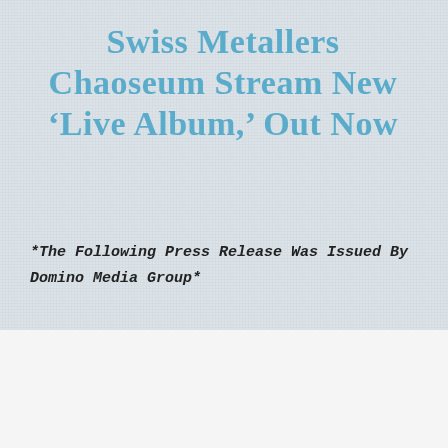Swiss Metallers Chaoseum Stream New ‘Live Album,’ Out Now
*The Following Press Release Was Issued By Domino Media Group*